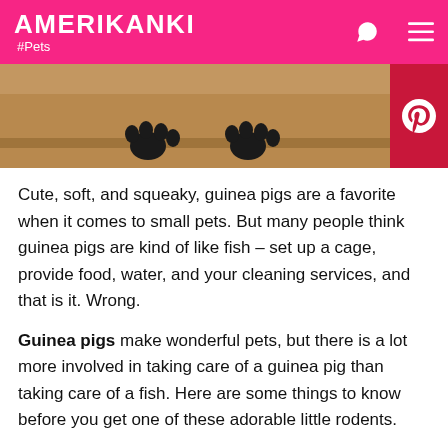AMERIKANKI #Pets
[Figure (photo): Close-up of guinea pig paws on a wooden surface, with a Pinterest share button on the right side]
Cute, soft, and squeaky, guinea pigs are a favorite when it comes to small pets. But many people think guinea pigs are kind of like fish – set up a cage, provide food, water, and your cleaning services, and that is it. Wrong.
Guinea pigs make wonderful pets, but there is a lot more involved in taking care of a guinea pig than taking care of a fish. Here are some things to know before you get one of these adorable little rodents.
1. Make sure allergies will